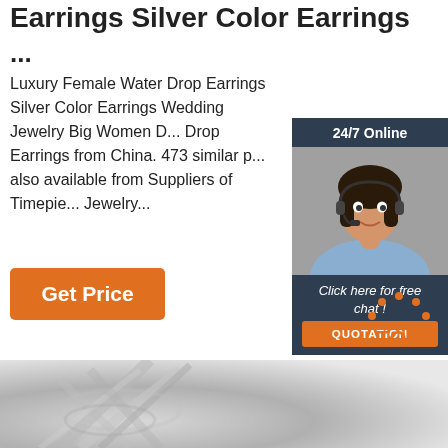Earrings Silver Color Earrings …
Luxury Female Water Drop Earrings Silver Color Earrings Wedding Jewelry Big Women Drop Earrings from China. 473 similar products also available from Suppliers of Timepiece, Jewelry…
Get Price
[Figure (infographic): 24/7 Online chat widget with woman wearing headset. Text: '24/7 Online', 'Click here for free chat!', 'QUOTATION' button.]
[Figure (logo): TOP icon with orange dots arranged in arc above the text 'TOP' in orange]
[Figure (photo): Blurred grayscale photo of silver earrings at the bottom of the page]